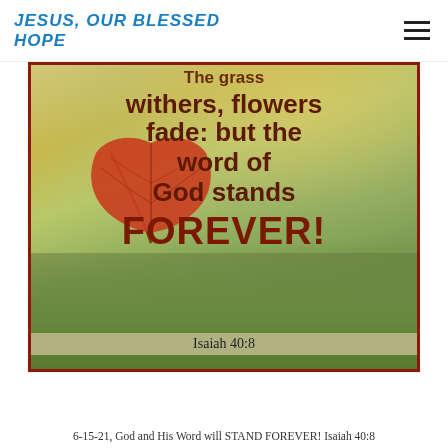JESUS, OUR BLESSED HOPE
[Figure (illustration): Autumn scene with a fallen maple leaf on grass. Overlaid bold text reads: 'The grass withers, flowers fade: but the word of God stands FOREVER! Isaiah 40:8']
6-15-21, God and His Word will STAND FOREVER! Isaiah 40:8